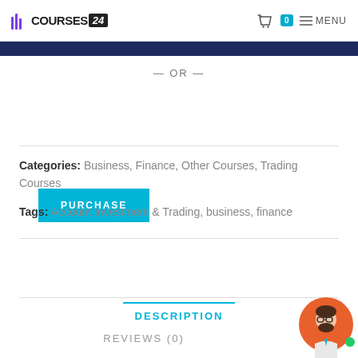Courses24 | MENU
— OR —
PURCHASE
Categories: Business, Finance, Other Courses, Trading Courses
Tags: Account Investment & Trading, business, finance
DESCRIPTION
REVIEWS (0)